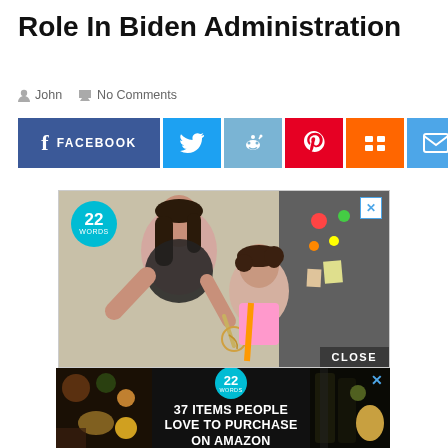Role In Biden Administration
John   No Comments
[Figure (infographic): Social media share buttons row: Facebook (dark blue), Twitter (blue), Reddit (light blue), Pinterest (red), Mix (orange), Email (blue)]
[Figure (photo): Advertisement showing woman and child cooking together with '22 WORDS' badge; CLOSE button at bottom right]
[Figure (infographic): Advertisement on dark background: '22 WORDS' teal badge, text '37 ITEMS PEOPLE LOVE TO PURCHASE ON AMAZON', X close button, food images on left and right]